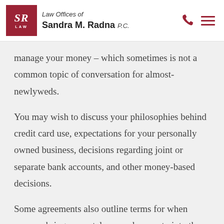Law Offices of Sandra M. Radna P.C.
manage your money – which sometimes is not a common topic of conversation for almost-newlyweds.
You may wish to discuss your philosophies behind credit card use, expectations for your personally owned business, decisions regarding joint or separate bank accounts, and other money-based decisions.
Some agreements also outline terms for when spouses bring separately owned property into the marriage. You may wish to establish a plan for when